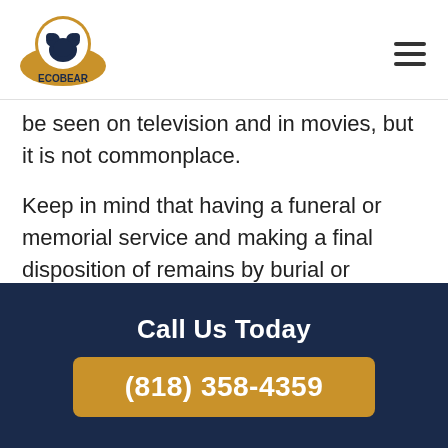EcoBear
be seen on television and in movies, but it is not commonplace.
Keep in mind that having a funeral or memorial service and making a final disposition of remains by burial or cremation are separate matters. If the circumstances so dictate, a funeral or memorial service can be held in the absence of the remains if an execution of a
Call Us Today
(818) 358-4359